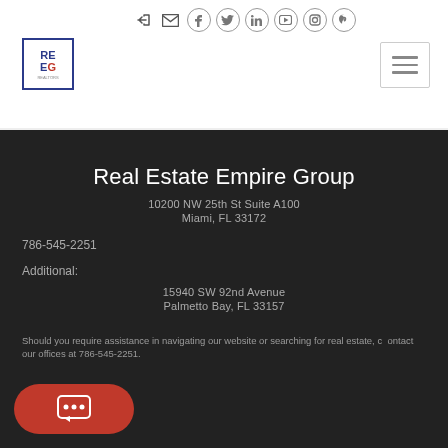[Figure (logo): REEG Real Estate Empire Group logo - blue bordered box with RE EG letters]
Real Estate Empire Group
10200 NW 25th St Suite A100
Miami, FL 33172
786-545-2251
Additional:
15940 SW 92nd Avenue
Palmetto Bay, FL 33157
Should you require assistance in navigating our website or searching for real estate, contact our offices at 786-545-2251.